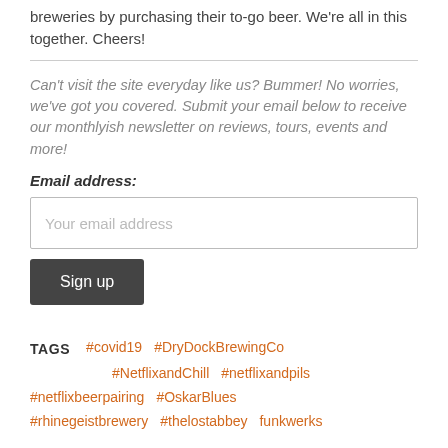breweries by purchasing their to-go beer. We're all in this together. Cheers!
Can't visit the site everyday like us? Bummer! No worries, we've got you covered. Submit your email below to receive our monthlyish newsletter on reviews, tours, events and more!
Email address:
Your email address
Sign up
TAGS  #covid19  #DryDockBrewingCo  #NetflixandChill  #netflixandpils  #netflixbeerpairing  #OskarBlues  #rhinegeistbrewery  #thelostabbey  funkwerks